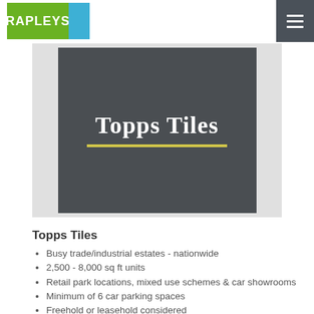RAPLEYS
[Figure (logo): Topps Tiles logo on dark grey background with yellow underline]
Topps Tiles
Busy trade/industrial estates - nationwide
2,500 - 8,000 sq ft units
Retail park locations, mixed use schemes & car showrooms
Minimum of 6 car parking spaces
Freehold or leasehold considered